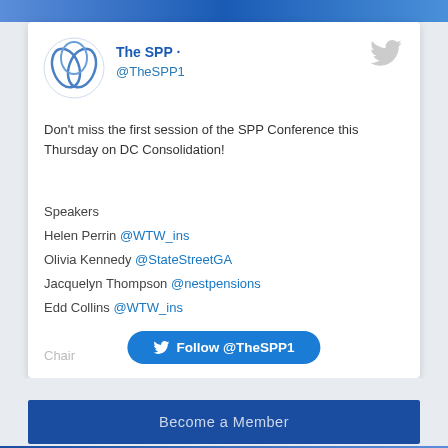[Figure (screenshot): Blue wave banner at top of page]
[Figure (logo): SPP circular logo with interlinked loops in blue]
The SPP · @TheSPP1
Don't miss the first session of the SPP Conference this Thursday on DC Consolidation!
Speakers
Helen Perrin @WTW_ins
Olivia Kennedy @StateStreetGA
Jacquelyn Thompson @nestpensions
Edd Collins @WTW_ins
Chair
Follow @TheSPP1
Become a Member